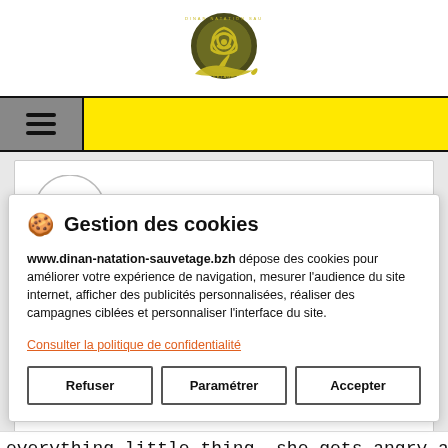[Figure (logo): Dinan Natation Sauvetage circular logo with triskelion and shark]
[Figure (infographic): Yellow navigation bar with grey hamburger menu icon on the left]
🍪 Gestion des cookies
www.dinan-natation-sauvetage.bzh dépose des cookies pour améliorer votre expérience de navigation, mesurer l'audience du site internet, afficher des publicités personnalisées, réaliser des campagnes ciblées et personnaliser l'interface du site.
Consulter la politique de confidentialité
Refuser | Paramétrer | Accepter
everything little thing, she gets angry at every little thing